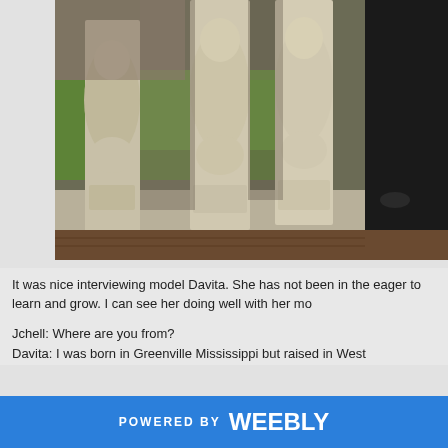[Figure (photo): Close-up photo of white decorative porch balusters/columns on a balustrade, with green lawn visible in background and a dark figure partially visible on the right side]
It was nice interviewing model Davita. She has not been in the eager to learn and grow. I can see her doing well with her mo
Jchell: Where are you from?
Davita: I was born in Greenville Mississippi but raised in West
POWERED BY weebly